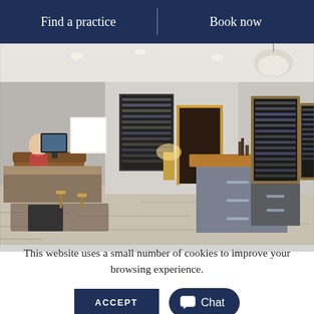Find a practice | Book now
[Figure (photo): Interior of an optician practice showing display frames on wall units, a central island counter with wooden top, examination area on the left with patient seated, and wooden flooring throughout.]
This website uses a small number of cookies to improve your browsing experience.
ACCEPT
Chat